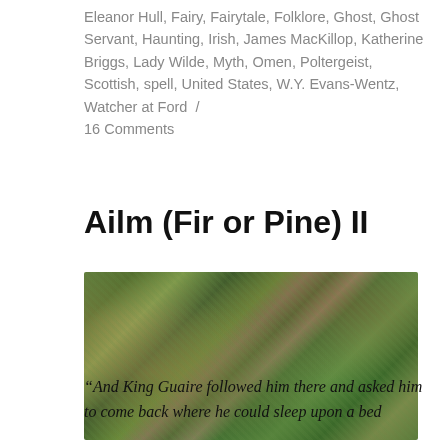Eleanor Hull, Fairy, Fairytale, Folklore, Ghost, Ghost Servant, Haunting, Irish, James MacKillop, Katherine Briggs, Lady Wilde, Myth, Omen, Poltergeist, Scottish, spell, United States, W.Y. Evans-Wentz, Watcher at Ford / 16 Comments
Ailm (Fir or Pine) II
[Figure (photo): Close-up photograph of fir or pine tree branches with silvery-green needles, with brown/orange bokeh background suggesting autumn foliage.]
“And King Guaire followed him there and asked him to come back where he could sleep upon a bed